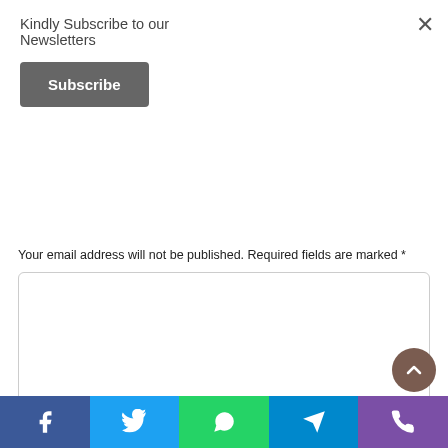Kindly Subscribe to our Newsletters
Subscribe
Your email address will not be published. Required fields are marked *
[Figure (screenshot): Large empty textarea input field with rounded border]
Name *
[Figure (screenshot): Name text input field with rounded border]
[Figure (infographic): Social share bar with Facebook, Twitter, WhatsApp, Telegram, and Phone icons]